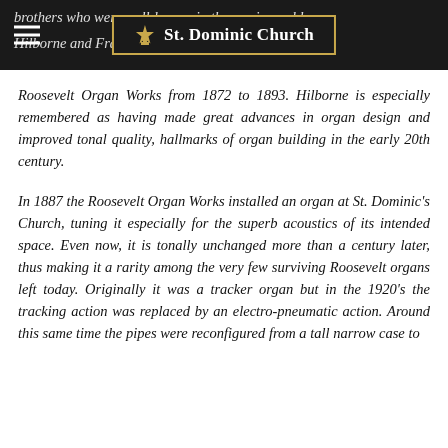St. Dominic Church
brothers who were well-known in the music world. Hilborne and Frank Roosevelt operated the Roosevelt Organ Works from 1872 to 1893. Hilborne is especially remembered as having made great advances in organ design and improved tonal quality, hallmarks of organ building in the early 20th century.
In 1887 the Roosevelt Organ Works installed an organ at St. Dominic's Church, tuning it especially for the superb acoustics of its intended space. Even now, it is tonally unchanged more than a century later, thus making it a rarity among the very few surviving Roosevelt organs left today. Originally it was a tracker organ but in the 1920's the tracking action was replaced by an electro-pneumatic action. Around this same time the pipes were reconfigured from a tall narrow case to